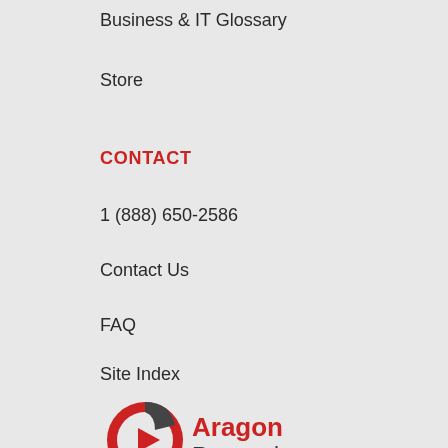Business & IT Glossary
Store
CONTACT
1 (888) 650-2586
Contact Us
FAQ
Site Index
[Figure (logo): Aragon Research logo with circular icon in red and dark grey, with text 'Aragon Research' in red and dark grey]